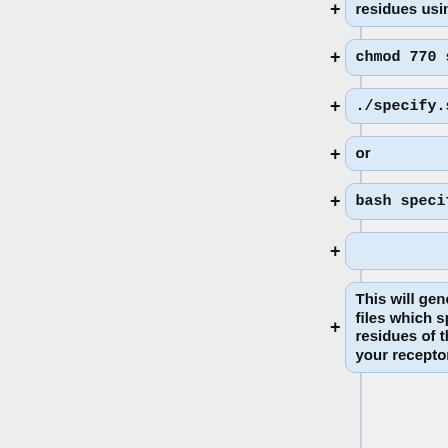residues using the above file.
chmod 770 specify.sh
./specify.sh
or
bash specify.sh
This will generate another two files which specify the primary residues of the binding site of your receptor.